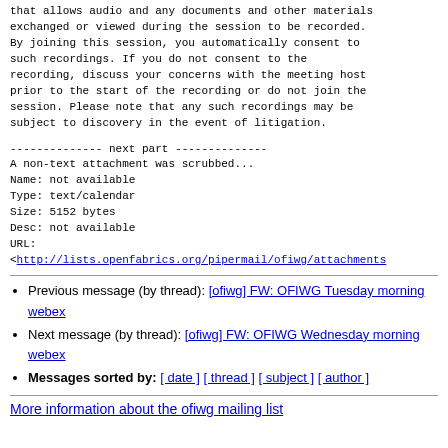that allows audio and any documents and other materials exchanged or viewed during the session to be recorded. By joining this session, you automatically consent to such recordings. If you do not consent to the recording, discuss your concerns with the meeting host prior to the start of the recording or do not join the session. Please note that any such recordings may be subject to discovery in the event of litigation.
-------------- next part --------------
A non-text attachment was scrubbed...
Name: not available
Type: text/calendar
Size: 5152 bytes
Desc: not available
URL:
<http://lists.openfabrics.org/pipermail/ofiwg/attachments
Previous message (by thread): [ofiwg] FW: OFIWG Tuesday morning webex
Next message (by thread): [ofiwg] FW: OFIWG Wednesday morning webex
Messages sorted by: [ date ] [ thread ] [ subject ] [ author ]
More information about the ofiwg mailing list